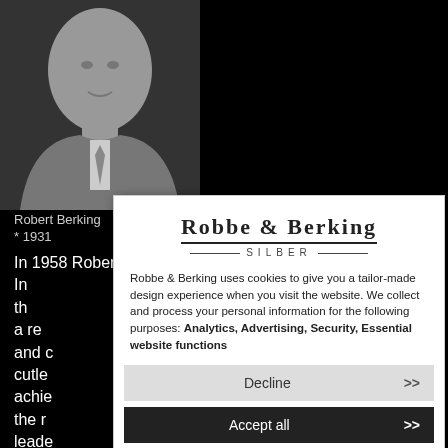[Figure (photo): Black and white portrait photograph of Robert Berking, an older man in a suit and tie]
Robert Berking
* 1931
In 1958 Robert Berking took the management of his father. In th... a reg... and c... cutle... achie... the r... leade...
[Figure (screenshot): Cookie consent modal overlay from Robbe & Berking Silber website]
With... silve... man... comp...